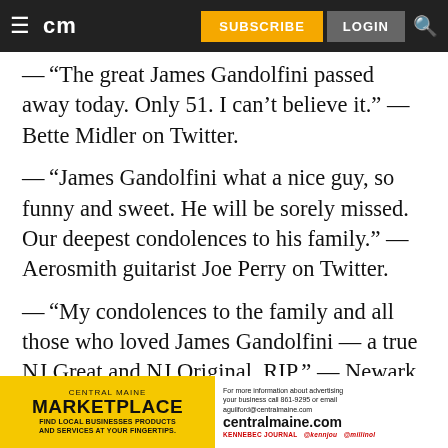cm | SUBSCRIBE | LOGIN
— “The great James Gandolfini passed away today. Only 51. I can’t believe it.” — Bette Midler on Twitter.
— “James Gandolfini what a nice guy, so funny and sweet. He will be sorely missed. Our deepest condolences to his family.” — Aerosmith guitarist Joe Perry on Twitter.
— “My condolences to the family and all those who loved James Gandolfini — a true NJ Great and NJ Original. RIP.” — Newark Mayor Cory
[Figure (infographic): Advertisement banner for Central Maine Marketplace. Yellow left side with text: CENTRAL MAINE MARKETPLACE - FIND LOCAL BUSINESSES PRODUCTS AND SERVICES AT YOUR FINGERTIPS. White right side with text: For more information about advertising your business call 861-9295 or email aguilford@centralmaine.com centralmaine.com]